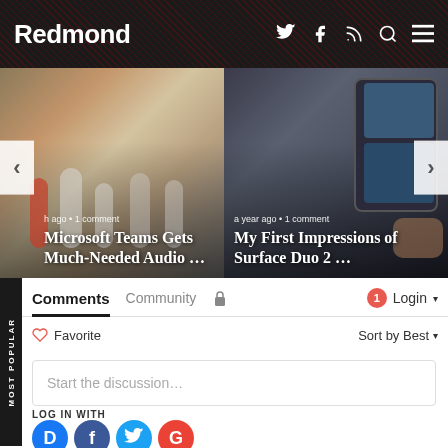Redmond
[Figure (screenshot): Slider with two article cards. Left card shows microphones with title 'Microsoft Teams Gets Much-Needed Audio …', meta '...h ago • 1 comment'. Right card shows Surface Duo 2 device with title 'My First Impressions of Surface Duo 2 …', meta 'a year ago • 1 comment'. Navigation arrows on left and right.]
Comments
Community
Login
Favorite
Sort by Best
Start the discussion…
LOG IN WITH